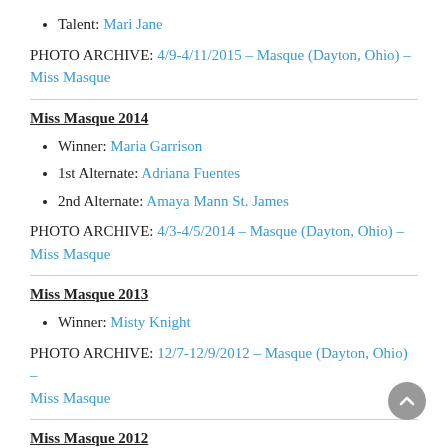Talent: Mari Jane
PHOTO ARCHIVE: 4/9-4/11/2015 – Masque (Dayton, Ohio) – Miss Masque
Miss Masque 2014
Winner: Maria Garrison
1st Alternate: Adriana Fuentes
2nd Alternate: Amaya Mann St. James
PHOTO ARCHIVE: 4/3-4/5/2014 – Masque (Dayton, Ohio) – Miss Masque
Miss Masque 2013
Winner: Misty Knight
PHOTO ARCHIVE: 12/7-12/9/2012 – Masque (Dayton, Ohio) – Miss Masque
Miss Masque 2012